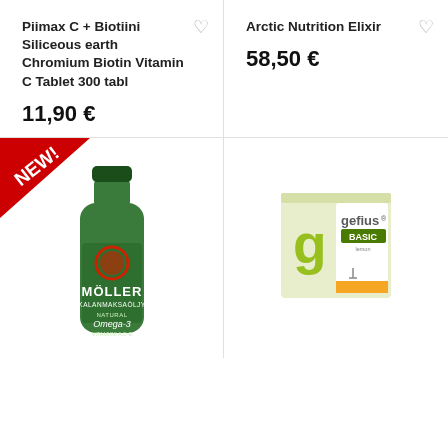Piimax C + Biotiini Siliceous earth Chromium Biotin Vitamin C Tablet 300 tabl
11,90 €
Arctic Nutrition Elixir
58,50 €
[Figure (photo): Möller Kalanmaksaöljy Natural Omega-3 green glass bottle with a NEW ribbon badge in upper left corner]
[Figure (photo): Gefius Basic product box, light green and white packaging with 'g' logo and orange accent]